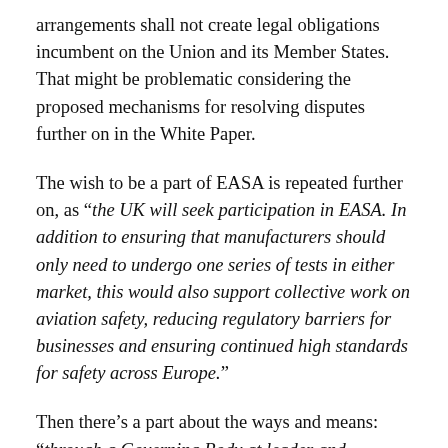arrangements shall not create legal obligations incumbent on the Union and its Member States.  That might be problematic considering the proposed mechanisms for resolving disputes further on in the White Paper.
The wish to be a part of EASA is repeated further on, as “the UK will seek participation in EASA. In addition to ensuring that manufacturers should only need to undergo one series of tests in either market, this would also support collective work on aviation safety, reducing regulatory barriers for businesses and ensuring continued high standards for safety across Europe.”
Then there’s a part about the ways and means: “through a Governing Body at leader and ministerial level; through a Joint Committee, including sub-committees where